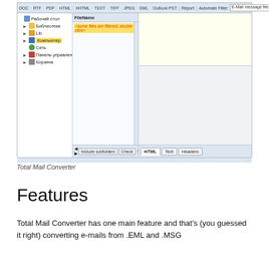[Figure (screenshot): Screenshot of Total Mail Converter application window showing a file browser with folder tree on the left (Рабочий стол, Библиотеки, Lib, Компьютер, Сеть, Панель управления, Корзина), a file list panel in the middle with FileName column header and a highlighted row '<some files are filtered, double click>', and a preview panel on the right split into top (light yellow) and bottom (light grey) areas with HTML, Text, Headers tabs at the bottom. Top toolbar shows: DOC RTF PDF HTML XHTML TEXT TIFF JPEG EML Outlook PST Report Automate Filter: E-Mail message files (*.msg;*.eml).]
Total Mail Converter
Features
Total Mail Converter has one main feature and that's (you guessed it right) converting e-mails from .EML and .MSG